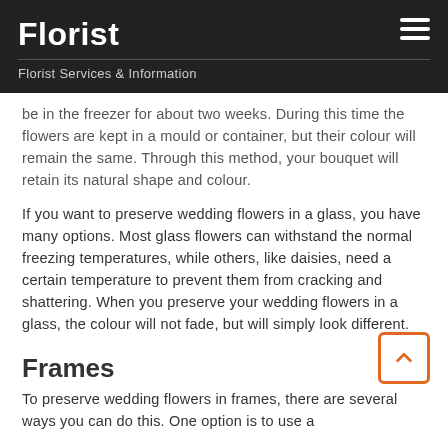Florist
Florist Services & Information
be in the freezer for about two weeks. During this time the flowers are kept in a mould or container, but their colour will remain the same. Through this method, your bouquet will retain its natural shape and colour.
If you want to preserve wedding flowers in a glass, you have many options. Most glass flowers can withstand the normal freezing temperatures, while others, like daisies, need a certain temperature to prevent them from cracking and shattering. When you preserve your wedding flowers in a glass, the colour will not fade, but will simply look different.
Frames
To preserve wedding flowers in frames, there are several ways you can do this. One option is to use a